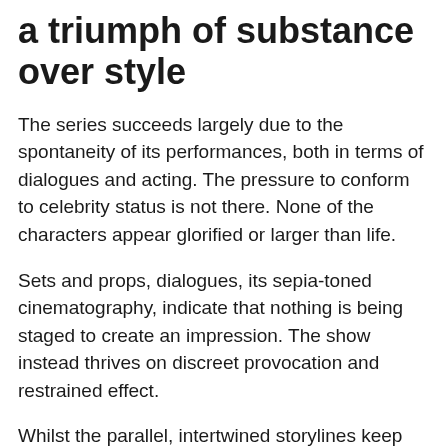a triumph of substance over style
The series succeeds largely due to the spontaneity of its performances, both in terms of dialogues and acting. The pressure to conform to celebrity status is not there. None of the characters appear glorified or larger than life.
Sets and props, dialogues, its sepia-toned cinematography, indicate that nothing is being staged to create an impression. The show instead thrives on discreet provocation and restrained effect.
Whilst the parallel, intertwined storylines keep you